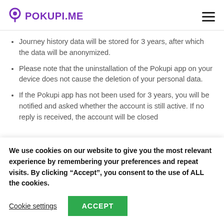POKUPI.ME
Journey history data will be stored for 3 years, after which the data will be anonymized.
Please note that the uninstallation of the Pokupi app on your device does not cause the deletion of your personal data.
If the Pokupi app has not been used for 3 years, you will be notified and asked whether the account is still active. If no reply is received, the account will be closed
We use cookies on our website to give you the most relevant experience by remembering your preferences and repeat visits. By clicking “Accept”, you consent to the use of ALL the cookies.
Cookie settings | ACCEPT